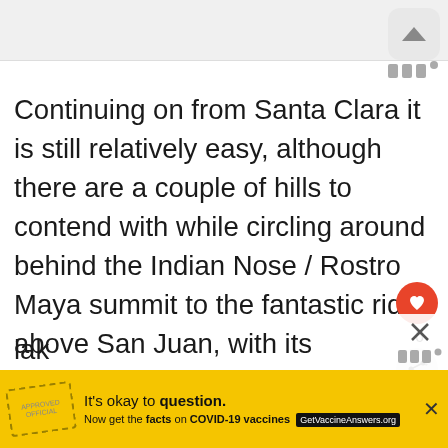[Figure (screenshot): App UI top bar with app icon (upward triangle / eject icon) in rounded rectangle, and Wikiloc-style dots indicator below]
Continuing on from Santa Clara it is still relatively easy, although there are a couple of hills to contend with while circling around behind the Indian Nose / Rostro Maya summit to the fantastic ridge above San Juan, with its panoramic views and interesting fields. Shortly after the ridge the trail starts downhill, with a solid hour's descent into the great village of S... Juan, many tourists' favourite destination on t...
lak...
[Figure (screenshot): Yellow advertisement banner: It's okay to question. Now get the facts on COVID-19 vaccines. GetVaccineAnswers.org]